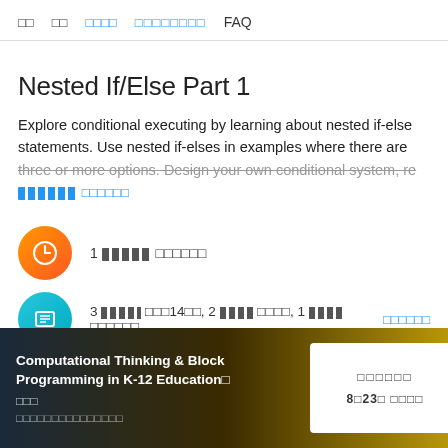□□  □□  □□□□  □□□□□□□□  FAQ
Nested If/Else Part 1
Explore conditional executing by learning about nested if-else statements. Use nested if-elses in examples where there are three or more options. Design your own conditional system, re…
□□□□□□
1□□□□□□
3□□□□□□ □□□14□□, 2 □□□□□□, 1 □□□□□□  □□□□□□
Computational Thinking & Block Programming in K-12 Education□
□□□
□□□□□□□□□□□□□□□
□□□□□□  8□23□ □□□□